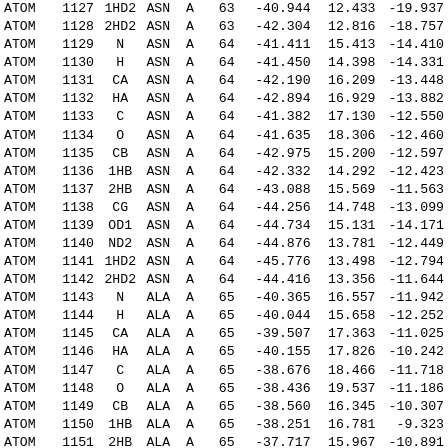| Record | Num | Name | Res | Ch | Seq | X | Y | Z |
| --- | --- | --- | --- | --- | --- | --- | --- | --- |
| ATOM | 1127 | 1HD2 | ASN | A | 63 | -40.944 | 12.433 | -19.937 |
| ATOM | 1128 | 2HD2 | ASN | A | 63 | -42.304 | 12.816 | -18.757 |
| ATOM | 1129 | N | ASN | A | 64 | -41.411 | 15.413 | -14.410 |
| ATOM | 1130 | H | ASN | A | 64 | -41.450 | 14.398 | -14.331 |
| ATOM | 1131 | CA | ASN | A | 64 | -42.190 | 16.209 | -13.448 |
| ATOM | 1132 | HA | ASN | A | 64 | -42.894 | 16.929 | -13.882 |
| ATOM | 1133 | C | ASN | A | 64 | -41.382 | 17.130 | -12.550 |
| ATOM | 1134 | O | ASN | A | 64 | -41.635 | 18.306 | -12.460 |
| ATOM | 1135 | CB | ASN | A | 64 | -42.975 | 15.200 | -12.597 |
| ATOM | 1136 | 1HB | ASN | A | 64 | -42.332 | 14.292 | -12.423 |
| ATOM | 1137 | 2HB | ASN | A | 64 | -43.088 | 15.569 | -11.563 |
| ATOM | 1138 | CG | ASN | A | 64 | -44.256 | 14.748 | -13.099 |
| ATOM | 1139 | OD1 | ASN | A | 64 | -44.734 | 15.131 | -14.171 |
| ATOM | 1140 | ND2 | ASN | A | 64 | -44.876 | 13.781 | -12.449 |
| ATOM | 1141 | 1HD2 | ASN | A | 64 | -45.776 | 13.498 | -12.794 |
| ATOM | 1142 | 2HD2 | ASN | A | 64 | -44.416 | 13.356 | -11.644 |
| ATOM | 1143 | N | ALA | A | 65 | -40.365 | 16.557 | -11.942 |
| ATOM | 1144 | H | ALA | A | 65 | -40.044 | 15.658 | -12.252 |
| ATOM | 1145 | CA | ALA | A | 65 | -39.507 | 17.363 | -11.025 |
| ATOM | 1146 | HA | ALA | A | 65 | -40.155 | 17.826 | -10.242 |
| ATOM | 1147 | C | ALA | A | 65 | -38.676 | 18.466 | -11.718 |
| ATOM | 1148 | O | ALA | A | 65 | -38.436 | 19.537 | -11.186 |
| ATOM | 1149 | CB | ALA | A | 65 | -38.560 | 16.345 | -10.307 |
| ATOM | 1150 | 1HB | ALA | A | 65 | -38.251 | 16.781 |  -9.323 |
| ATOM | 1151 | 2HB | ALA | A | 65 | -37.717 | 15.967 | -10.891 |
| ATOM | 1152 | 3HB | ALA | A | 65 | -39.122 | 15.439 | -10.010 |
| ATOM | 1153 | N | GLY | A | 66 | -38.304 | 18.240 | -12.948 |
| ATOM | 1154 | H | GLY | A | 66 | -38.533 | 17.315 | -13.351 |
| ATOM | 1155 | CA | GLY | A | 66 | -37.566 | 19.249 | -13.729 |
| ATOM | 1156 | 1HA | GLY | A | 66 | -36.747 | 19.715 | -13.134 |